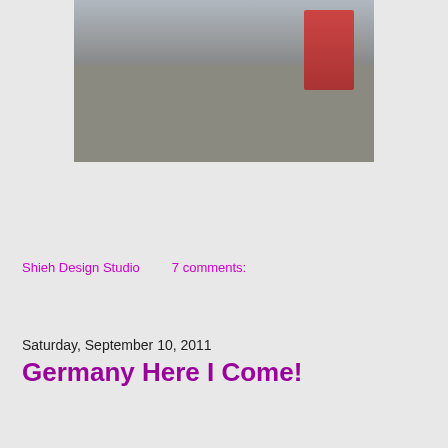[Figure (photo): Woman sitting on a stone ledge on a street with red flowers, cars visible in background]
Shieh Design Studio    7 comments:
Share
Saturday, September 10, 2011
Germany Here I Come!
[Figure (photo): Modern building facade with glass windows and trees in foreground]